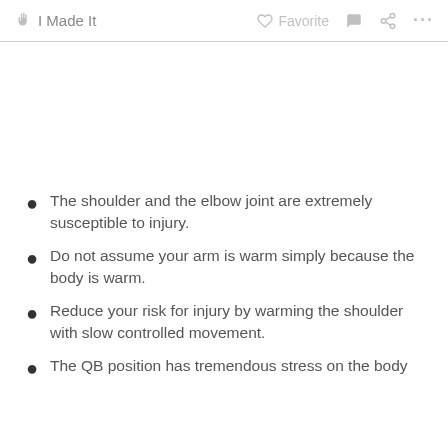✋ I Made It    ♡ Favorite  💬  ⤴  ...
The shoulder and the elbow joint are extremely susceptible to injury.
Do not assume your arm is warm simply because the body is warm.
Reduce your risk for injury by warming the shoulder with slow controlled movement.
The QB position has tremendous stress on the body